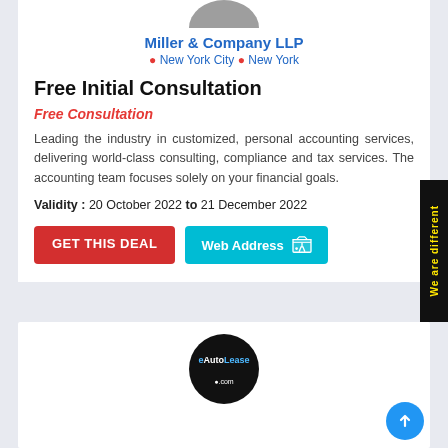[Figure (logo): Partial circular logo at top of Miller & Company LLP card]
Miller & Company LLP
📍 New York City 📍 New York
Free Initial Consultation
Free Consultation
Leading the industry in customized, personal accounting services, delivering world-class consulting, compliance and tax services. The accounting team focuses solely on your financial goals.
Validity : 20 October 2022 to 21 December 2022
GET THIS DEAL | Web Address
We are different
[Figure (logo): eAutoLease circular logo on black background]